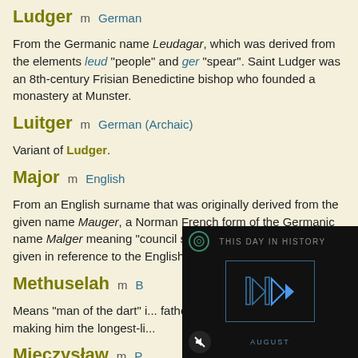Ludger   m   German
From the Germanic name Leudagar, which was derived from the elements leud "people" and ger "spear". Saint Ludger was an 8th-century Frisian Benedictine bishop who founded a monastery at Munster.
Luitger   m   German (Archaic)
Variant of Ludger.
Major   m   English
From an English surname that was originally derived from the given name Mauger, a Norman French form of the Germanic name Malger meaning "council spear". The name can also be given in reference to the English word major.
Methuselah   m   B...
Means "man of the dart" ... father of Lamech and the ... making him the longest-li...
Mieczysław   m   P...
[Figure (screenshot): Video overlay widget showing 'THIS DAY IN HISTORY' with a media player play button and AUGUST label, dark background with blue/teal accents.]